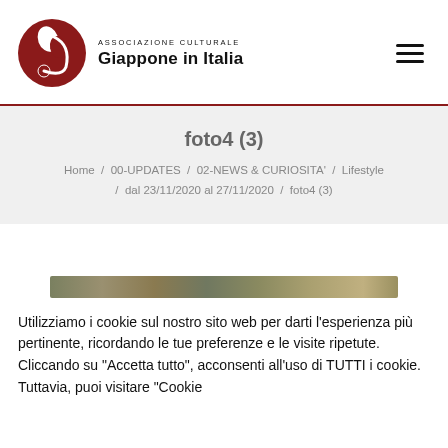[Figure (logo): Associazione Culturale Giappone in Italia logo — circular dark red emblem with stylized figure, next to the organization name text]
ASSOCIAZIONE CULTURALE Giappone in Italia
foto4 (3)
Home / 00-UPDATES / 02-NEWS & CURIOSITA' / Lifestyle / dal 23/11/2020 al 27/11/2020 / foto4 (3)
[Figure (photo): Partial image strip visible at bottom of banner area — appears to be a nature/outdoor photo]
Utilizziamo i cookie sul nostro sito web per darti l'esperienza più pertinente, ricordando le tue preferenze e le visite ripetute. Cliccando su "Accetta tutto", acconsenti all'uso di TUTTI i cookie. Tuttavia, puoi visitare "Cookie